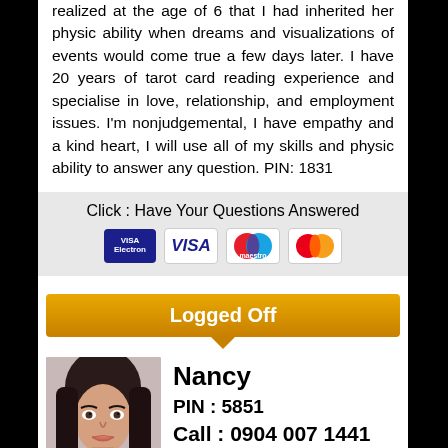realized at the age of 6 that I had inherited her physic ability when dreams and visualizations of events would come true a few days later. I have 20 years of tarot card reading experience and specialise in love, relationship, and employment issues. I'm nonjudgemental, I have empathy and a kind heart, I will use all of my skills and physic ability to answer any question. PIN: 1831
Click : Have Your Questions Answered
[Figure (other): Payment card logos: Visa Electron, VISA, Maestro, MasterCard]
Logged Off
[Figure (photo): Photo of Nancy, a young woman with long dark hair]
Nancy
PIN : 5851
Call : 0904 007 1441
(Call cost 45p per minute plus network access charges apply)